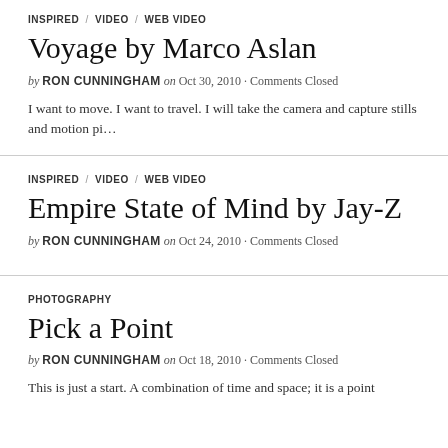INSPIRED / VIDEO / WEB VIDEO
Voyage by Marco Aslan
by RON CUNNINGHAM on Oct 30, 2010 · Comments Closed
I want to move. I want to travel. I will take the camera and capture stills and motion pi…
INSPIRED / VIDEO / WEB VIDEO
Empire State of Mind by Jay-Z
by RON CUNNINGHAM on Oct 24, 2010 · Comments Closed
PHOTOGRAPHY
Pick a Point
by RON CUNNINGHAM on Oct 18, 2010 · Comments Closed
This is just a start. A combination of time and space; it is a point